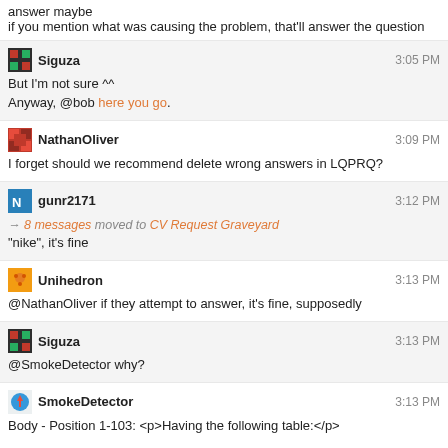answer maybe
if you mention what was causing the problem, that'll answer the question
Siguza 3:05 PM
But I'm not sure ^^
Anyway, @bob here you go.
NathanOliver 3:09 PM
I forget should we recommend delete wrong answers in LQPRQ?
gunr2171 3:12 PM
→ 8 messages moved to CV Request Graveyard
"nike", it's fine
Unihedron 3:13 PM
@NathanOliver if they attempt to answer, it's fine, supposedly
Siguza 3:13 PM
@SmokeDetector why?
SmokeDetector 3:13 PM
Body - Position 1-103: <p>Having the following table:</p>

<pre><code>CODPERS CAT NUM TOTAL
1 NIKE
NathanOliver 3:14 PM
@Unihedron that's what I thought. I just skipped it.